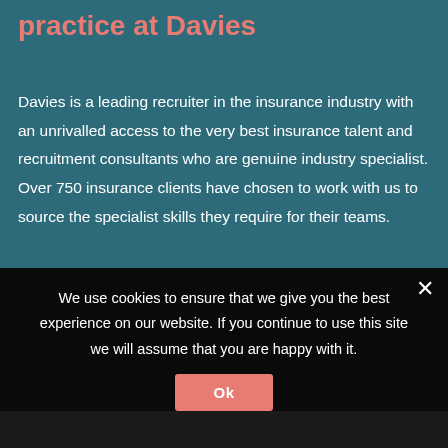practice at Davies
Davies is a leading recruiter in the insurance industry with an unrivalled access to the very best insurance talent and recruitment consultants who are genuine industry specialist. Over 750 insurance clients have chosen to work with us to source the specialist skills they require for their teams.
We use cookies to ensure that we give you the best experience on our website. If you continue to use this site we will assume that you are happy with it.